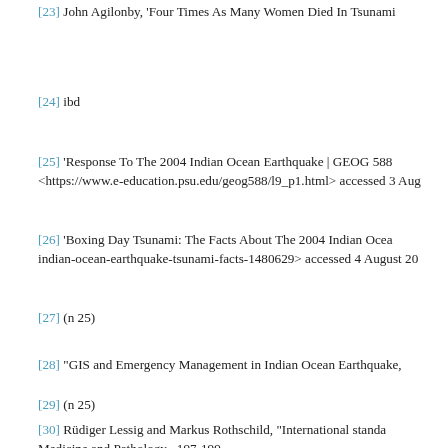[23] John Agilonby, 'Four Times As Many Women Died In Tsunami
[24] ibd
[25] 'Response To The 2004 Indian Ocean Earthquake | GEOG 588 <https://www.e-education.psu.edu/geog588/l9_p1.html> accessed 3 Aug
[26] 'Boxing Day Tsunami: The Facts About The 2004 Indian Ocea indian-ocean-earthquake-tsunami-facts-1480629> accessed 4 August 20
[27] (n 25)
[28] "GIS and Emergency Management in Indian Ocean Earthquake,
[29] (n 25)
[30] Rüdiger Lessig and Markus Rothschild, "International standa Medicine and Pathology» 197-199